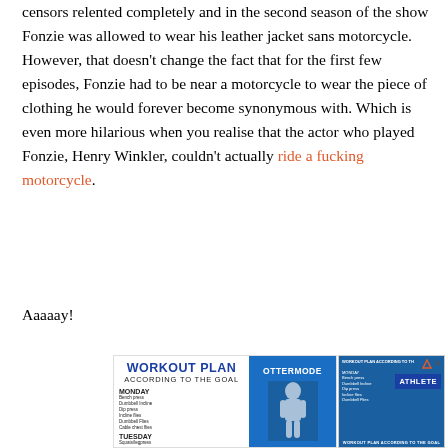censors relented completely and in the second season of the show Fonzie was allowed to wear his leather jacket sans motorcycle. However, that doesn't change the fact that for the first few episodes, Fonzie had to be near a motorcycle to wear the piece of clothing he would forever become synonymous with. Which is even more hilarious when you realise that the actor who played Fonzie, Henry Winkler, couldn't actually ride a fucking motorcycle.
Aaaaay!
[Figure (advertisement): Workout Plan According to the Goal advertisement showing a fitness plan with MONDAY and TUESDAY sections, featuring an athlete image and OTTERMODE badge on blue background. A second ad panel on the right shows WORKOUT PLAN ACCORDING TO THE with ATHLETE text and a shirtless male figure.]